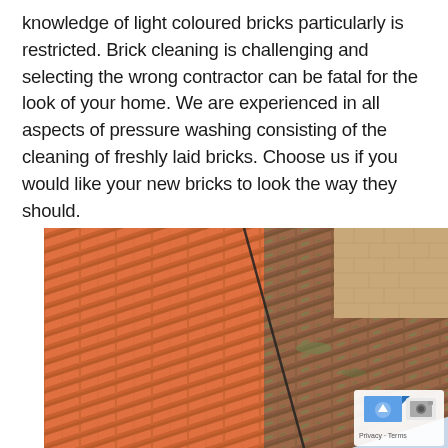knowledge of light coloured bricks particularly is restricted. Brick cleaning is challenging and selecting the wrong contractor can be fatal for the look of your home. We are experienced in all aspects of pressure washing consisting of the cleaning of freshly laid bricks. Choose us if you would like your new bricks to look the way they should.
[Figure (photo): A rooftop with terracotta/clay roof tiles shown in a before-and-after style, left side appears clean and bright orange-red, right side appears weathered and dirty with moss/algae growth. A brick chimney or wall is visible in the upper right corner. A Google Maps watermark appears in the lower right corner.]